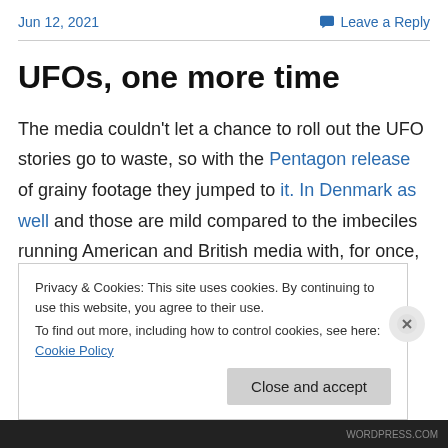Jun 12, 2021    Leave a Reply
UFOs, one more time
The media couldn't let a chance to roll out the UFO stories go to waste, so with the Pentagon release of grainy footage they jumped to it. In Denmark as well and those are mild compared to the imbeciles running American and British media with, for once, CNN at least being moderately skeptical
Privacy & Cookies: This site uses cookies. By continuing to use this website, you agree to their use.
To find out more, including how to control cookies, see here: Cookie Policy

Close and accept